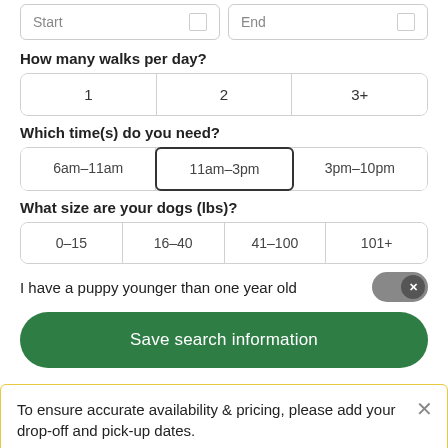Start / End date selectors (partial, top of page)
How many walks per day?
1  2  3+
Which time(s) do you need?
6am–11am  11am–3pm  3pm–10pm
What size are your dogs (lbs)?
0–15  16–40  41–100  101+
I have a puppy younger than one year old
Save search information
To ensure accurate availability & pricing, please add your drop-off and pick-up dates.